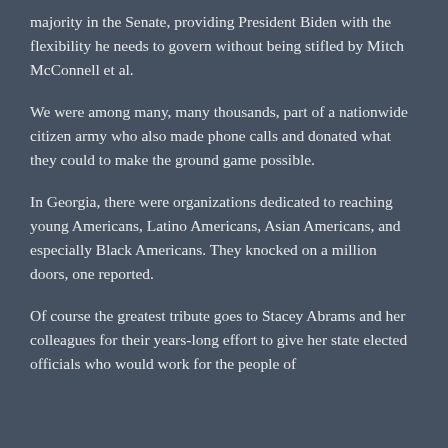majority in the Senate, providing President Biden with the flexibility he needs to govern without being stifled by Mitch McConnell et al.
We were among many, many thousands, part of a nationwide citizen army who also made phone calls and donated what they could to make the ground game possible.
In Georgia, there were organizations dedicated to reaching young Americans, Latino Americans, Asian Americans, and especially Black Americans. They knocked on a million doors, one reported.
Of course the greatest tribute goes to Stacey Abrams and her colleagues for their years-long effort to give her state elected officials who would work for the people of